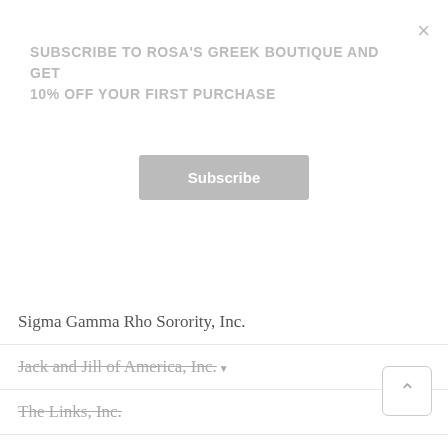SUBSCRIBE TO ROSA'S GREEK BOUTIQUE AND GET 10% OFF YOUR FIRST PURCHASE
Subscribe
×
Sigma Gamma Rho Sorority, Inc.
Jack and Jill of America, Inc.
The Links, Inc.
Deals
Pearls
Gift Cards
Connect
Instagram
Facebook